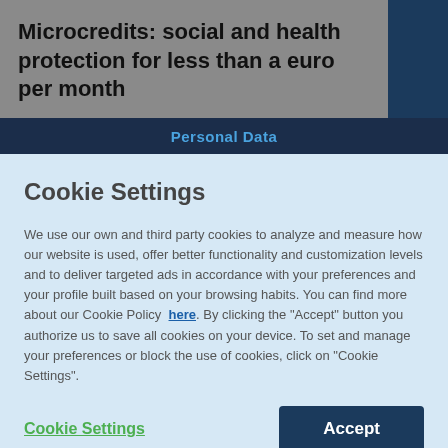Microcredits: social and health protection for less than a euro per month
Personal Data
Cookie Settings
We use our own and third party cookies to analyze and measure how our website is used, offer better functionality and customization levels and to deliver targeted ads in accordance with your preferences and your profile built based on your browsing habits. You can find more about our Cookie Policy here. By clicking the "Accept" button you authorize us to save all cookies on your device. To set and manage your preferences or block the use of cookies, click on "Cookie Settings".
Cookie Settings
Accept